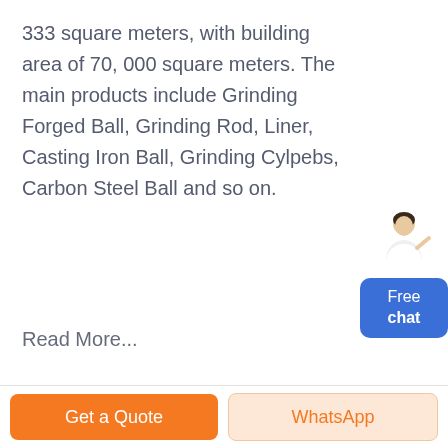333 square meters, with building area of 70, 000 square meters. The main products include Grinding Forged Ball, Grinding Rod, Liner, Casting Iron Ball, Grinding Cylpebs, Carbon Steel Ball and so on.
Read More...
[Figure (photo): Two side-by-side photos of an industrial mining/grinding facility with machinery and equipment outdoors]
China Ore Grinding Steel
Get a Quote
WhatsApp